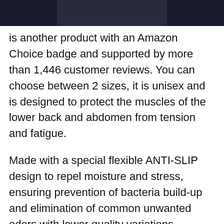[Figure (photo): Partial bottom edge of a product photo showing a dark-colored garment or belt, cropped at the top of the page.]
is another product with an Amazon Choice badge and supported by more than 1,446 customer reviews. You can choose between 2 sizes, it is unisex and is designed to protect the muscles of the lower back and abdomen from tension and fatigue.
Made with a special flexible ANTI-SLIP design to repel moisture and stress, ensuring prevention of bacteria build-up and elimination of common unwanted odors with lower quality variations.
The production company says that with this belt you can expect: